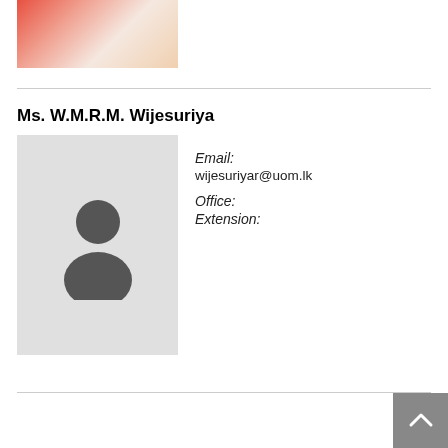[Figure (photo): Partial photo of a person in a red top and white/cream saree, cropped at top of page]
Ms. W.M.R.M. Wijesuriya
[Figure (photo): Default avatar/placeholder profile photo with grey background and dark silhouette person icon]
Email: wijesuriyar@uom.lk Office: Extension: